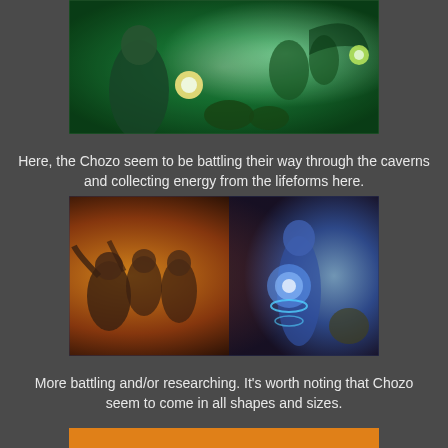[Figure (illustration): Fantasy battle scene with Chozo warriors in glowing green caverns fighting creatures, with glowing orbs of energy]
Here, the Chozo seem to be battling their way through the caverns and collecting energy from the lifeforms here.
[Figure (illustration): Fantasy battle/research scene showing diverse Chozo figures of various shapes and sizes, with blue glowing energy orbs, in a crowded scene]
More battling and/or researching. It's worth noting that Chozo seem to come in all shapes and sizes.
[Figure (illustration): Partial view of another fantasy scene with orange and yellow tones, partially cut off at the bottom]